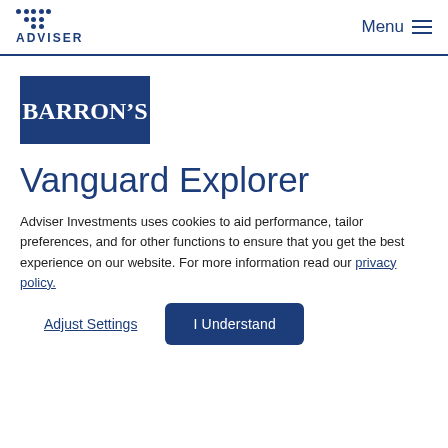ADVISER | Menu
[Figure (logo): Barron's logo — white text on dark blue rectangle background]
Vanguard Explorer
Adviser Investments uses cookies to aid performance, tailor preferences, and for other functions to ensure that you get the best experience on our website. For more information read our privacy policy.
Adjust Settings | I Understand